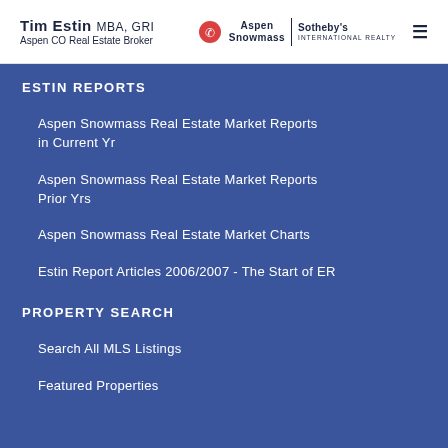Tim Estin MBA, GRI | Aspen CO Real Estate Broker | Aspen Snowmass Sotheby's International Realty
ESTIN REPORTS
Aspen Snowmass Real Estate Market Reports in Current Yr
Aspen Snowmass Real Estate Market Reports Prior Yrs
Aspen Snowmass Real Estate Market Charts
Estin Report Articles 2006/2007 - The Start of ER
PROPERTY SEARCH
Search All MLS Listings
Featured Properties